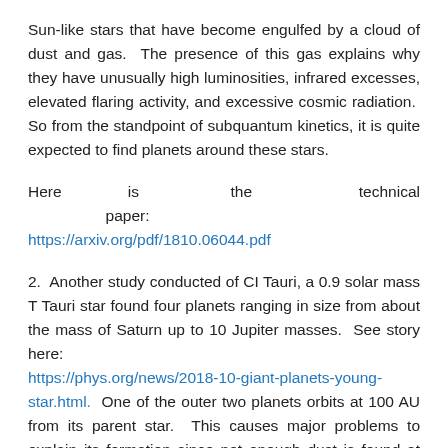Sun-like stars that have become engulfed by a cloud of dust and gas.  The presence of this gas explains why they have unusually high luminosities, infrared excesses, elevated flaring activity, and excessive cosmic radiation.  So from the standpoint of subquantum kinetics, it is quite expected to find planets around these stars.
Here is the technical paper: https://arxiv.org/pdf/1810.06044.pdf
2.  Another study conducted of CI Tauri, a 0.9 solar mass T Tauri star found four planets ranging in size from about the mass of Saturn up to 10 Jupiter masses.  See story here: https://phys.org/news/2018-10-giant-planets-young-star.html.  One of the outer two planets orbits at 100 AU from its parent star.  This causes major problems to explain its formation since not enough dust is found at such a great distance from the star.  So current accretion models have difficulty explaining how it formed in just 2 million years, the